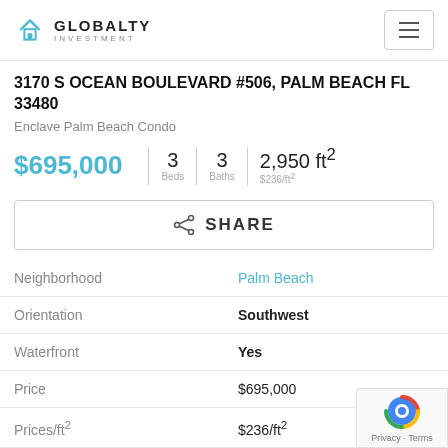GLOBALTY INVESTMENT
3170 S OCEAN BOULEVARD #506, PALM BEACH FL 33480
Enclave Palm Beach Condo
$695,000 | 3 Beds | 3 Baths | 2,950 ft² $236/ft²
SHARE
|  |  |
| --- | --- |
| Neighborhood | Palm Beach |
| Orientation | Southwest |
| Waterfront | Yes |
| Price | $695,000 |
| Prices/ft² | $236/ft² |
| DOM | 1481 Days |